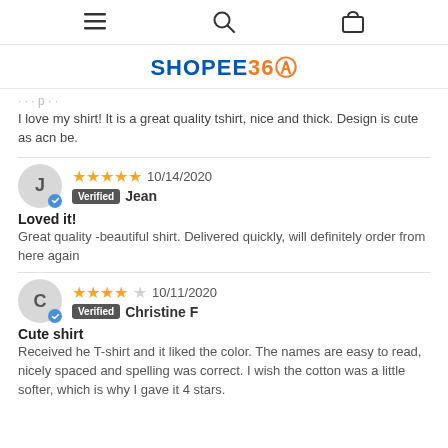≡  🔍  🛍
[Figure (logo): SHOPEE360 logo with blue and orange text]
I love my shirt! It is a great quality tshirt, nice and thick. Design is cute as acn be.
★★★★★ 10/14/2020  Verified Jean
Loved it!
Great quality -beautiful shirt. Delivered quickly, will definitely order from here again
★★★★☆ 10/11/2020  Verified Christine F
Cute shirt
Received he T-shirt and it liked the color. The names are easy to read, nicely spaced and spelling was correct. I wish the cotton was a little softer, which is why I gave it 4 stars.